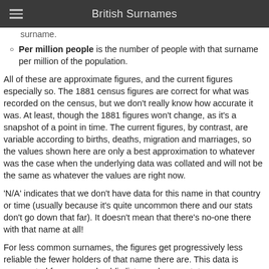British Surnames
surname.
Per million people is the number of people with that surname per million of the population.
All of these are approximate figures, and the current figures especially so. The 1881 census figures are correct for what was recorded on the census, but we don't really know how accurate it was. At least, though the 1881 figures won't change, as it's a snapshot of a point in time. The current figures, by contrast, are variable according to births, deaths, migration and marriages, so the values shown here are only a best approximation to whatever was the case when the underlying data was collated and will not be the same as whatever the values are right now.
'N/A' indicates that we don't have data for this name in that country or time (usually because it's quite uncommon there and our stats don't go down that far). It doesn't mean that there's no-one there with that name at all!
For less common surnames, the figures get progressively less reliable the fewer holders of that name there are. This data is aggregated from several public lists, and some stats are interpolated from known values. The margin of error is well over 100% at the rarest end of the table!